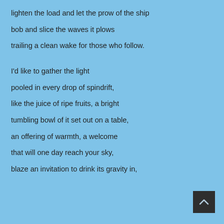lighten the load and let the prow of the ship
bob and slice the waves it plows
trailing a clean wake for those who follow.
I'd like to gather the light
pooled in every drop of spindrift,
like the juice of ripe fruits, a bright
tumbling bowl of it set out on a table,
an offering of warmth, a welcome
that will one day reach your sky,
blaze an invitation to drink its gravity in,